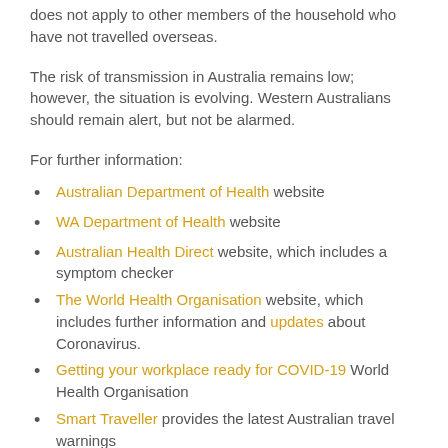does not apply to other members of the household who have not travelled overseas.
The risk of transmission in Australia remains low; however, the situation is evolving. Western Australians should remain alert, but not be alarmed.
For further information:
Australian Department of Health website
WA Department of Health website
Australian Health Direct website, which includes a symptom checker
The World Health Organisation website, which includes further information and updates about Coronavirus.
Getting your workplace ready for COVID-19 World Health Organisation
Smart Traveller provides the latest Australian travel warnings